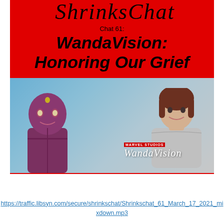[Figure (illustration): ShrinksChatpodcast cover image for Chat 61. Red background with script 'ShrinksChat' logo at top, bold italic text 'Chat 61: WandaVision: Honoring Our Grief', and a promotional photo showing Vision (purple android character) and Wanda (woman with red hair) with Marvel Studios WandaVision logo overlay.]
https://traffic.libsyn.com/secure/shrinkschat/Shrinkschat_61_March_17_2021_mixdown.mp3